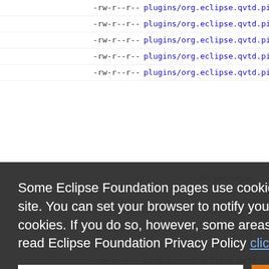-rw-r--r-- plugins/org.eclipse.qvtd.pivot.qvtcorebase/build.properties
-rw-r--r-- plugins/org.eclipse.qvtd.pivot.qvtcorebase/emf-gen/org/e...
-rw-r--r-- plugins/org.eclipse.qvtd.pivot.qvtcorebase/emf-gen/org/e...
-rw-r--r-- plugins/org.eclipse.qvtd.pivot.qvtcorebase/emf-gen/org/e...
-rw-r--r-- plugins/org.eclipse.qvtd.pivot.qvtcorebase/emf-gen/org/e...
Some Eclipse Foundation pages use cookies to better serve you when you return to the site. You can set your browser to notify you before you receive a cookie or turn off cookies. If you do so, however, some areas of some sites may not function properly. To read Eclipse Foundation Privacy Policy click here.
-rw-r--r-- plugins/org.eclipse.qvtd.pivot.qvtcorebase/emf-gen/org/e...